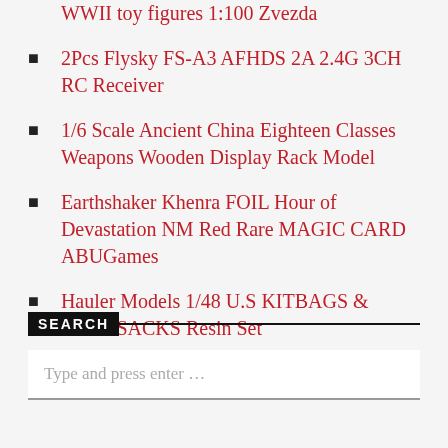WWII toy figures 1:100 Zvezda
2Pcs Flysky FS-A3 AFHDS 2A 2.4G 3CH RC Receiver
1/6 Scale Ancient China Eighteen Classes Weapons Wooden Display Rack Model
Earthshaker Khenra FOIL Hour of Devastation NM Red Rare MAGIC CARD ABUGames
Hauler Models 1/48 U.S KITBAGS & RUCKSACKS Resin Set
SEARCH
Type and press enter …